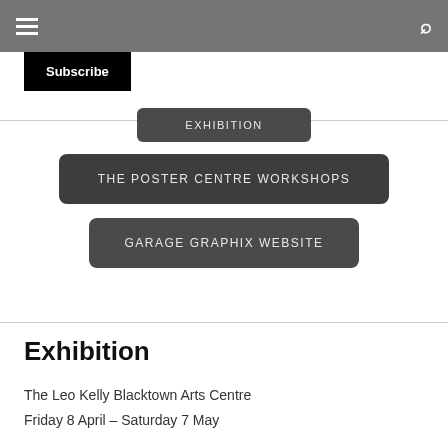☰  🔍
Subscribe
EXHIBITION
THE POSTER CENTRE WORKSHOPS
GARAGE GRAPHIX WEBSITE
Exhibition
The Leo Kelly Blacktown Arts Centre
Friday 8 April – Saturday 7 May